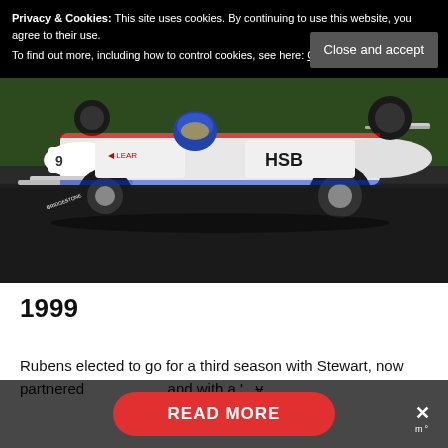Privacy & Cookies: This site uses cookies. By continuing to use this website, you agree to their use. To find out more, including how to control cookies, see here: Cookie Policy
[Figure (photo): Formula 1 racing car (white with HSBC, Lear, Bridgestone branding) on track with driver in helmet, green grass background]
1999
Rubens elected to go for a third season with Stewart, now partnered and with a '...v
READ MORE